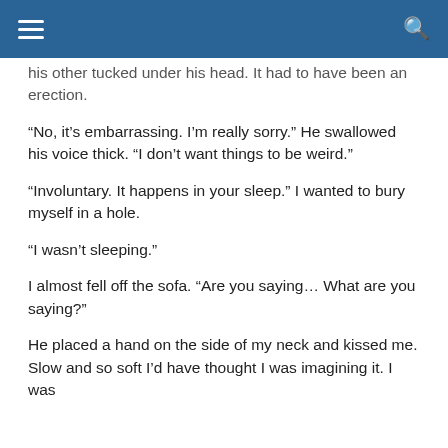[navigation bar with hamburger menu and search icon]
his other tucked under his head. It had to have been an erection.
“No, it’s embarrassing. I’m really sorry.” He swallowed his voice thick. “I don’t want things to be weird.”
“Involuntary. It happens in your sleep.” I wanted to bury myself in a hole.
“I wasn’t sleeping.”
I almost fell off the sofa. “Are you saying… What are you saying?”
He placed a hand on the side of my neck and kissed me. Slow and so soft I’d have thought I was imagining it. I was